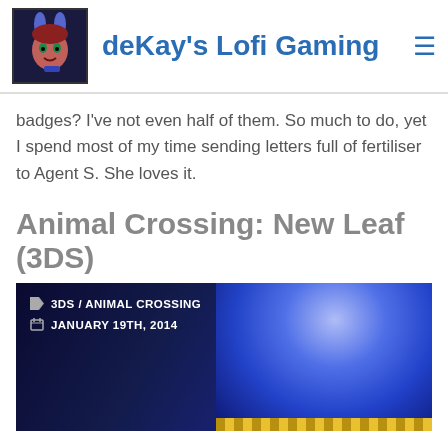deKay's Lofi Gaming
badges? I've not even half of them. So much to do, yet I spend most of my time sending letters full of fertiliser to Agent S. She loves it.
Animal Crossing: New Leaf (3DS)
[Figure (screenshot): Screenshot from Animal Crossing: New Leaf (3DS) showing game scenes. Overlaid with metadata: '3DS / ANIMAL CROSSING' and 'JANUARY 19TH, 2014']